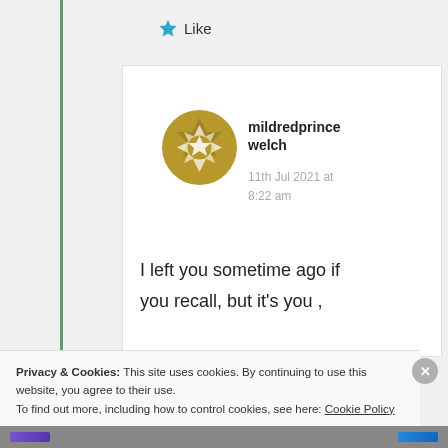[Figure (screenshot): A blog comment section screenshot showing a Like button with a blue star icon, a comment card with a golden avatar icon, username 'mildredprince welch', timestamp '11th Jul 2021 at 8:22 am', and partial comment text 'I left you sometime ago if you recall, but it's you ,']
I left you sometime ago if you recall, but it's you ,
Privacy & Cookies: This site uses cookies. By continuing to use this website, you agree to their use.
To find out more, including how to control cookies, see here: Cookie Policy
Close and accept